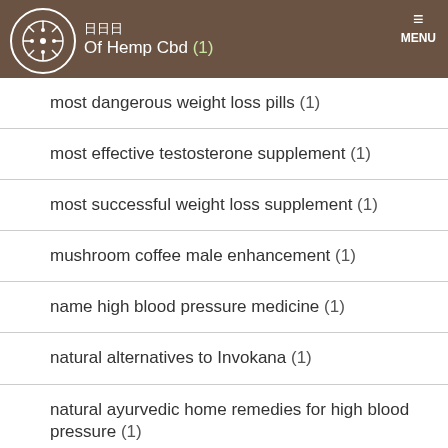日日日 Of Hemp Cbd (1)
most dangerous weight loss pills (1)
most effective testosterone supplement (1)
most successful weight loss supplement (1)
mushroom coffee male enhancement (1)
name high blood pressure medicine (1)
natural alternatives to Invokana (1)
natural ayurvedic home remedies for high blood pressure (1)
natural cognitive supplements (1)
natural herb supplements for high blood pressure cholesterol